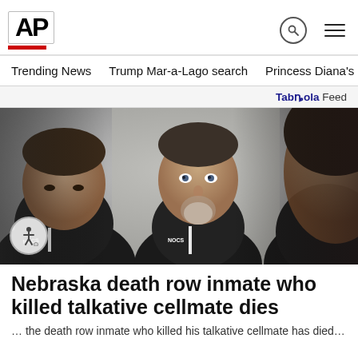AP
Trending News   Trump Mar-a-Lago search   Princess Diana's dea
Taboola Feed
[Figure (photo): A man with a goatee beard flanked by two people wearing black uniforms with lanyards reading 'NOCS', photographed in close-up]
Nebraska death row inmate who killed talkative cellmate dies
...